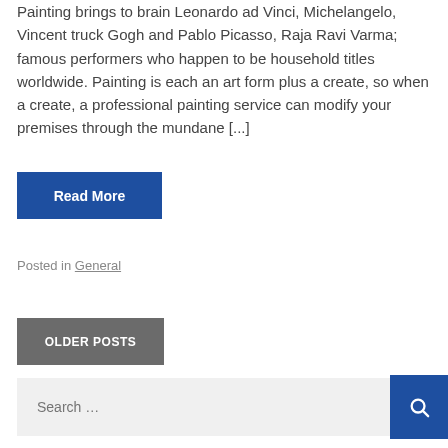Painting brings to brain Leonardo ad Vinci, Michelangelo, Vincent truck Gogh and Pablo Picasso, Raja Ravi Varma; famous performers who happen to be household titles worldwide. Painting is each an art form plus a create, so when a create, a professional painting service can modify your premises through the mundane [...]
Read More
Posted in General
OLDER POSTS
Search …